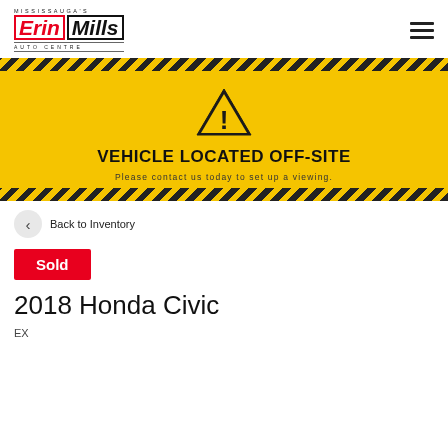[Figure (logo): Mississauga's Erin Mills Auto Centre logo — red and black italic text with border]
[Figure (infographic): Yellow and black striped warning banner with triangle exclamation icon, text 'VEHICLE LOCATED OFF-SITE' and 'Please contact us today to set up a viewing.']
Back to Inventory
Sold
2018 Honda Civic
EX